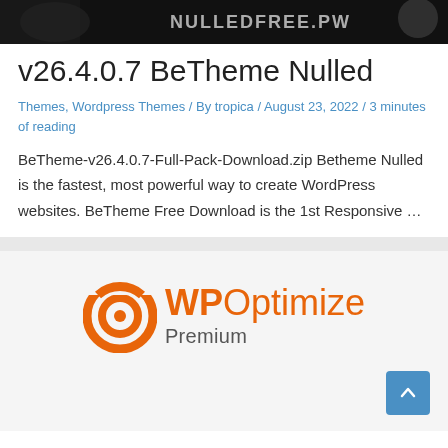[Figure (photo): Dark banner image with text NULLEDFREE.PW and a partially visible figure/logo]
v26.4.0.7 BeTheme Nulled
Themes, Wordpress Themes / By tropica / August 23, 2022 / 3 minutes of reading
BeTheme-v26.4.0.7-Full-Pack-Download.zip Betheme Nulled is the fastest, most powerful way to create WordPress websites. BeTheme Free Download is the 1st Responsive …
[Figure (logo): WP Optimize Premium logo with orange circular icon and orange/grey text]